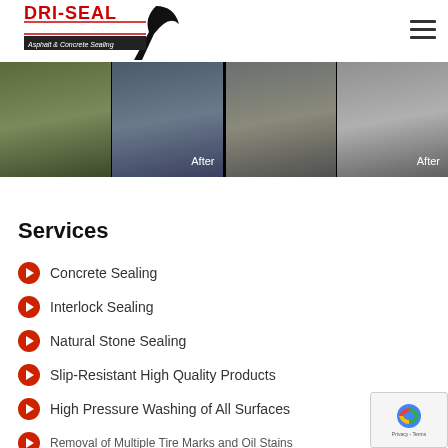[Figure (logo): DRI-SEAL Asphalt & Concrete Sealing logo with shark fin graphic]
[Figure (photo): Before/after photo comparison of driveway sealing, left group shows grass-edged asphalt before and after, right group shows paving stone before and after, both with 'After' labels]
Services
Concrete Sealing
Interlock Sealing
Natural Stone Sealing
Slip-Resistant High Quality Products
High Pressure Washing of All Surfaces
Removal of Multiple Tire Marks and Oil Stains